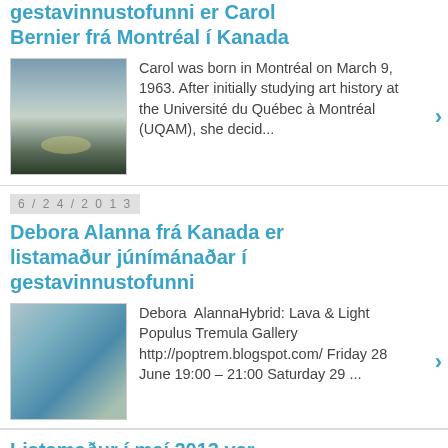gestavinnustofunni er Carol Bernier frá Montréal í Kanada
[Figure (photo): Painting thumbnail - abstract landscape with muted blues and greens, Carol Bernier artwork]
Carol was born in Montréal on March 9, 1963. After initially studying art history at the Université du Québec à Montréal (UQAM), she decid...
6 / 2 4 / 2 0 1 3
Debora Alanna frá Kanada er listamaður júnímánaðar í gestavinnustofunni
[Figure (photo): Painting thumbnail - abstract art with blue and teal tones, Debora Alanna artwork]
Debora  AlannaHybrid: Lava & Light Populus Tremula Gallery http://poptrem.blogspot.com/ Friday 28 June 19:00 – 21:00 Saturday 29 ...
Listamaður í maí 2013 var Katherine Pichering frá Kanada
[Figure (photo): Painting thumbnail - dark teal and navy tones, Katherine Pichering artwork]
Katherine er fædd í Montreal í Quebec en býr nú í...